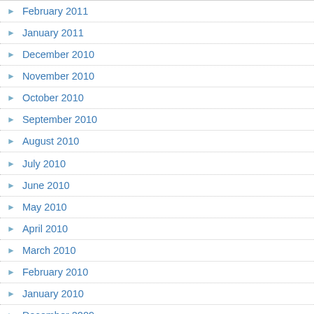February 2011
January 2011
December 2010
November 2010
October 2010
September 2010
August 2010
July 2010
June 2010
May 2010
April 2010
March 2010
February 2010
January 2010
December 2009
November 2009